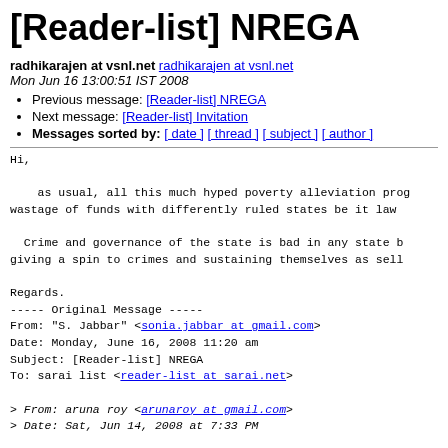[Reader-list] NREGA
radhikarajen at vsnl.net radhikarajen at vsnl.net
Mon Jun 16 13:00:51 IST 2008
Previous message: [Reader-list] NREGA
Next message: [Reader-list] Invitation
Messages sorted by: [ date ] [ thread ] [ subject ] [ author ]
Hi,

    as usual, all this much hyped poverty alleviation prog wastage of funds with differently ruled states be it law

  Crime and governance of the state is bad in any state b giving a spin to crimes and sustaining themselves as sell

Regards.
----- Original Message -----
From: "S. Jabbar" <sonia.jabbar at gmail.com>
Date: Monday, June 16, 2008 11:20 am
Subject: [Reader-list] NREGA
To: sarai list <reader-list at sarai.net>

> From: aruna roy <arunaroy at gmail.com>
> Date: Sat, Jun 14, 2008 at 7:33 PM